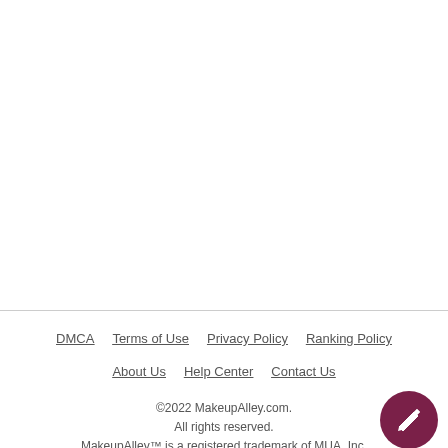DMCA   Terms of Use   Privacy Policy   Ranking Policy   About Us   Help Center   Contact Us   ©2022 MakeupAlley.com. All rights reserved. MakeupAlley™ is a registered trademark of MUA, Inc.